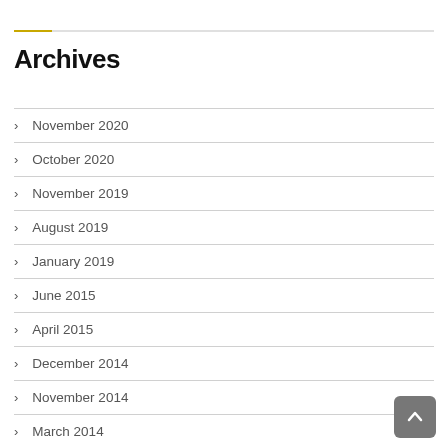Archives
November 2020
October 2020
November 2019
August 2019
January 2019
June 2015
April 2015
December 2014
November 2014
March 2014